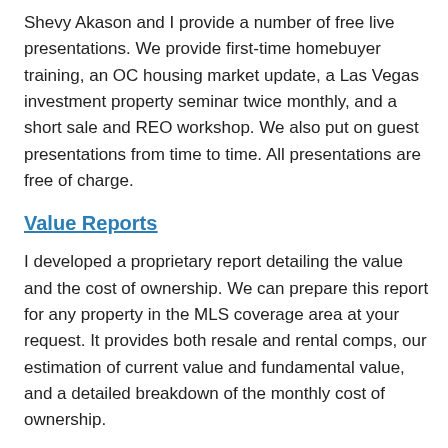Shevy Akason and I provide a number of free live presentations. We provide first-time homebuyer training, an OC housing market update, a Las Vegas investment property seminar twice monthly, and a short sale and REO workshop. We also put on guest presentations from time to time. All presentations are free of charge.
Value Reports
I developed a proprietary report detailing the value and the cost of ownership. We can prepare this report for any property in the MLS coverage area at your request. It provides both resale and rental comps, our estimation of current value and fundamental value, and a detailed breakdown of the monthly cost of ownership.
Affordability Calculator